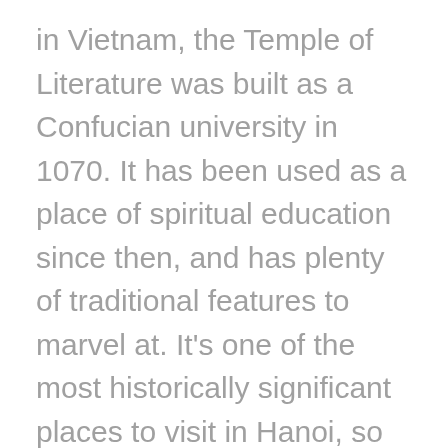in Vietnam, the Temple of Literature was built as a Confucian university in 1070. It has been used as a place of spiritual education since then, and has plenty of traditional features to marvel at. It's one of the most historically significant places to visit in Hanoi, so take your time to explore and take it all in.
Women's Museum